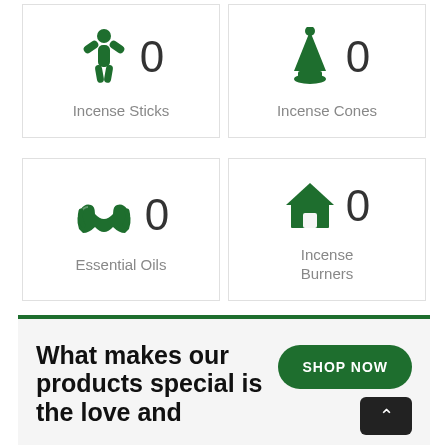[Figure (infographic): Grid of four product category cards. Top-left: person icon with arms raised, count 0, label Incense Sticks. Top-right: incense cone/burner icon, count 0, label Incense Cones. Bottom-left: hands cradling icon, count 0, label Essential Oils. Bottom-right: house/home icon, count 0, label Incense Burners.]
What makes our products special is the love and
SHOP NOW